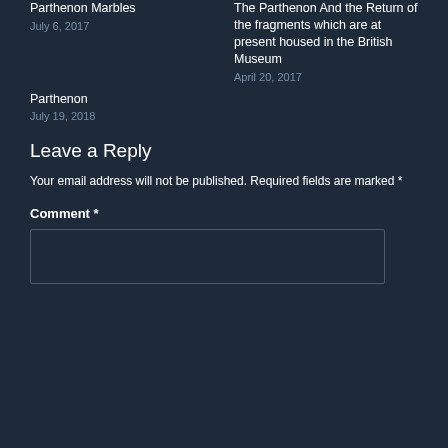Parthenon Marbles
July 6, 2017
The Parthenon And the Return of the fragments which are at present housed in the British Museum
April 20, 2017
Parthenon
July 19, 2018
Leave a Reply
Your email address will not be published. Required fields are marked *
Comment *